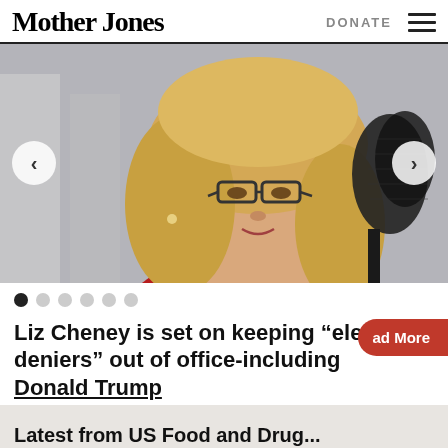Mother Jones | DONATE
[Figure (photo): Close-up photo of a blonde woman wearing glasses and a red jacket, speaking at a microphone outdoors. Navigation arrows on left and right sides of image.]
Liz Cheney is set on keeping “election deniers” out of office-including Donald Trump
Read More
Latest from US Food and Drug...